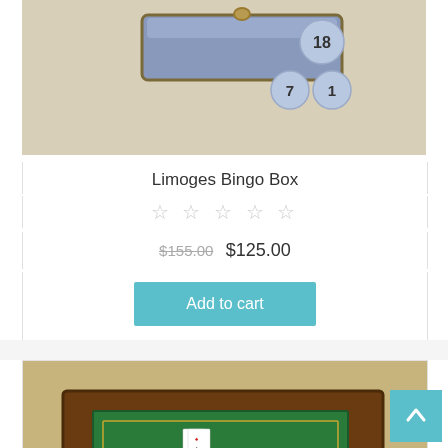[Figure (photo): Limoges Bingo Box product photo showing a decorative porcelain box with bingo balls numbered 18, 7, and 1]
Limoges Bingo Box
☆☆☆☆☆ (0 stars rating)
$155.00  $125.00
Add to cart
[Figure (photo): Playing card box shaped like a card table with green felt top showing playing cards arranged on it, ornate brass fittings]